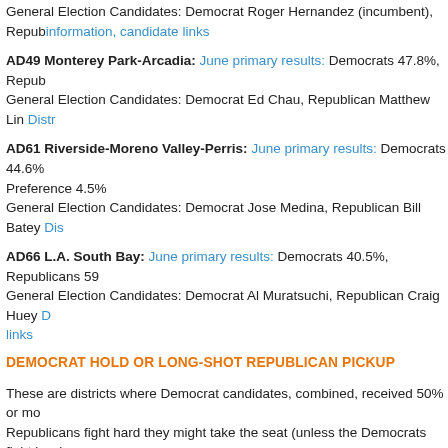General Election Candidates: Democrat Roger Hernandez (incumbent), Republican... information, candidate links
AD49 Monterey Park-Arcadia: June primary results: Democrats 47.8%, Republicans... General Election Candidates: Democrat Ed Chau, Republican Matthew Lin District...
AD61 Riverside-Moreno Valley-Perris: June primary results: Democrats 44.6%... Preference 4.5% General Election Candidates: Democrat Jose Medina, Republican Bill Batey District...
AD66 L.A. South Bay: June primary results: Democrats 40.5%, Republicans 59... General Election Candidates: Democrat Al Muratsuchi, Republican Craig Huey D... links
DEMOCRAT HOLD OR LONG-SHOT REPUBLICAN PICKUP
These are districts where Democrat candidates, combined, received 50% or more... Republicans fight hard they might take the seat (unless the Democrats fight hard...
AD9 South Sacramento-Elk Grove-Galt-Lodi: June primary results: Democrats... General Election Candidates: Democrat Richard Pan (incumbent), Republican T... candidate links
AD21 Merced County-parts of Stanislaus County: June primary results: Democrats... 45.4% General Election Candidates: Democrat Adam Gray, Republican Jack Mobley Di...
AD37 Santa Barbara County-Ventura-Santa Paula-Fillmore: June primary results... Republicans 44% General Election Candidates: Democrat Das Williams (incumbent), Republican...